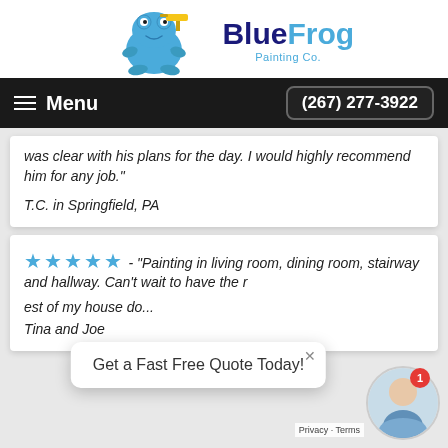[Figure (logo): Blue Frog Painting Co. logo with blue frog cartoon holding a paint roller and ruler]
Menu  |  (267) 277-3922
was clear with his plans for the day. I would highly recommend him for any job."
T.C. in Springfield, PA
★★★★★ - "Painting in living room, dining room, stairway and hallway. Can't wait to have the rest of my house do...
Tina and Joe
Get a Fast Free Quote Today!